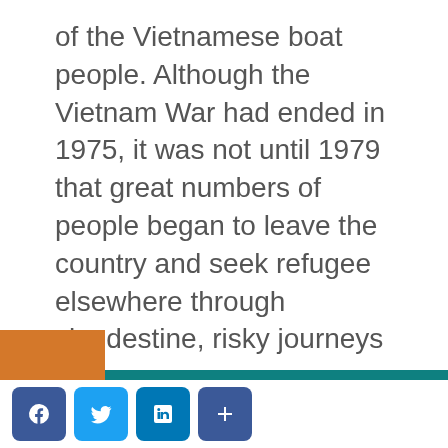of the Vietnamese boat people. Although the Vietnam War had ended in 1975, it was not until 1979 that great numbers of people began to leave the country and seek refugee elsewhere through clandestine, risky journeys by sea.
This site uses session, functional, analytics and third-party cookies to improve your experience. Please click on "learn more" to read our cookies policy.
ACCEPT
Learn More
[Figure (other): Social media share buttons: Facebook, Twitter, LinkedIn, and a plus/more button]